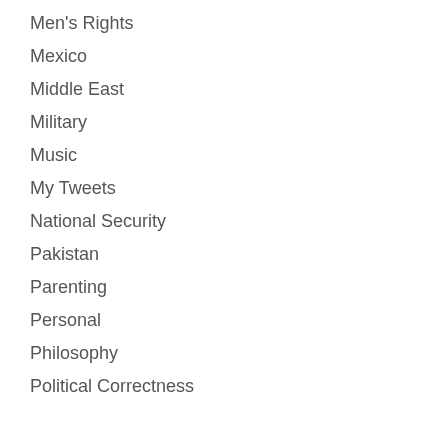Men's Rights
Mexico
Middle East
Military
Music
My Tweets
National Security
Pakistan
Parenting
Personal
Philosophy
Political Correctness